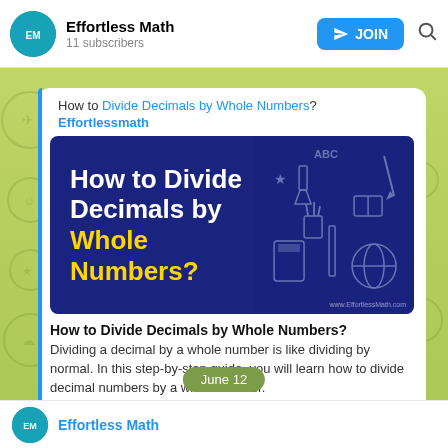Effortless Math — 11 subscribers
How to Divide Decimals by Whole Numbers?
Effortlessmath
[Figure (illustration): Dark blue banner image with white bold text 'How to Divide Decimals by Whole Numbers?' where 'Whole Numbers?' is in yellow, with school doodles on the right side]
How to Divide Decimals by Whole Numbers?
Dividing a decimal by a whole number is like dividing by normal. In this step-by-step guide, you will learn how to divide decimal numbers by a whole number.
19  06:13
June 12
Effortless Math